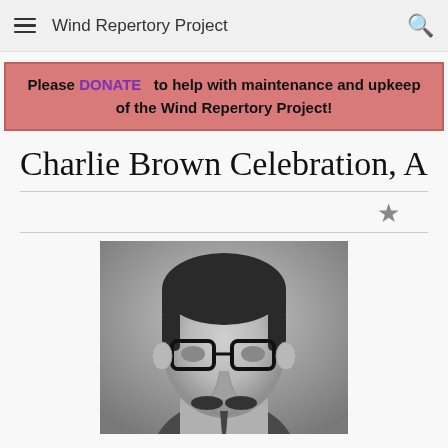Wind Repertory Project
Please DONATE to help with maintenance and upkeep of the Wind Repertory Project!
Charlie Brown Celebration, A
[Figure (photo): Black and white photograph of a man wearing thick-framed glasses and a suit with a chain necklace, looking downward.]